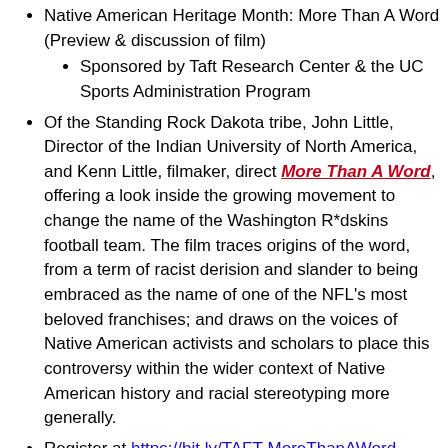Native American Heritage Month: More Than A Word (Preview & discussion of film)
Sponsored by Taft Research Center & the UC Sports Administration Program
Of the Standing Rock Dakota tribe, John Little, Director of the Indian University of North America, and Kenn Little, filmaker, direct More Than A Word, offering a look inside the growing movement to change the name of the Washington R*dskins football team. The film traces origins of the word, from a term of racist derision and slander to being embraced as the name of one of the NFL's most beloved franchises; and draws on the voices of Native American activists and scholars to place this controversy within the wider context of Native American history and racial stereotyping more generally.
Register at https://bit.ly/TAFT-MoreThanAWord
Selected Articles & Reports on Native American in the local Performance